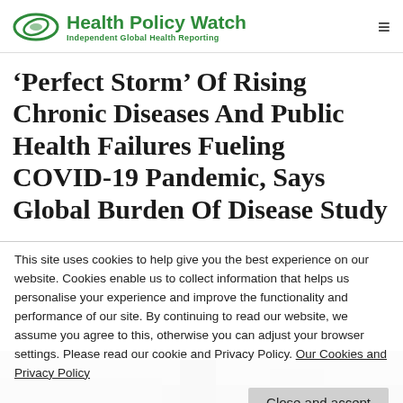Health Policy Watch — Independent Global Health Reporting
‘Perfect Storm’ Of Rising Chronic Diseases And Public Health Failures Fueling COVID-19 Pandemic, Says Global Burden Of Disease Study
This site uses cookies to help give you the best experience on our website. Cookies enable us to collect information that helps us personalise your experience and improve the functionality and performance of our site. By continuing to read our website, we assume you agree to this, otherwise you can adjust your browser settings. Please read our cookie and Privacy Policy. Our Cookies and Privacy Policy
Close and accept
[Figure (photo): Partial view of a news article page with a photo strip at the bottom, showing black and white imagery]